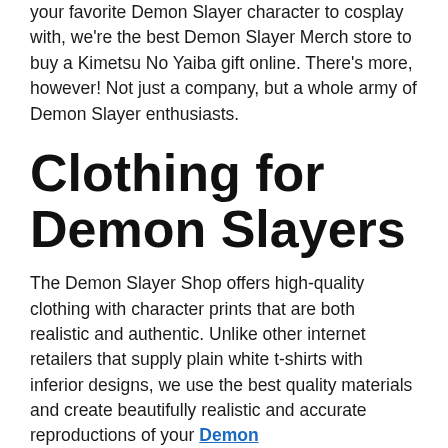your favorite Demon Slayer character to cosplay with, we're the best Demon Slayer Merch store to buy a Kimetsu No Yaiba gift online. There's more, however! Not just a company, but a whole army of Demon Slayer enthusiasts.
Clothing for Demon Slayers
The Demon Slayer Shop offers high-quality clothing with character prints that are both realistic and authentic. Unlike other internet retailers that supply plain white t-shirts with inferior designs, we use the best quality materials and create beautifully realistic and accurate reproductions of your Demon